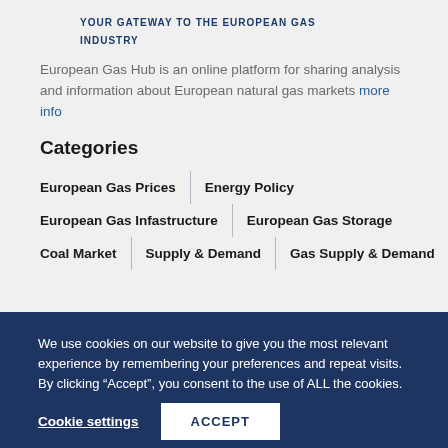YOUR GATEWAY TO THE EUROPEAN GAS INDUSTRY
European Gas Hub is an online platform for sharing analysis and information about European natural gas markets more info
Categories
European Gas Prices
Energy Policy
European Gas Infastructure
European Gas Storage
Coal Market
Supply & Demand
Gas Supply & Demand
We use cookies on our website to give you the most relevant experience by remembering your preferences and repeat visits. By clicking “Accept”, you consent to the use of ALL the cookies.
Cookie settings
ACCEPT